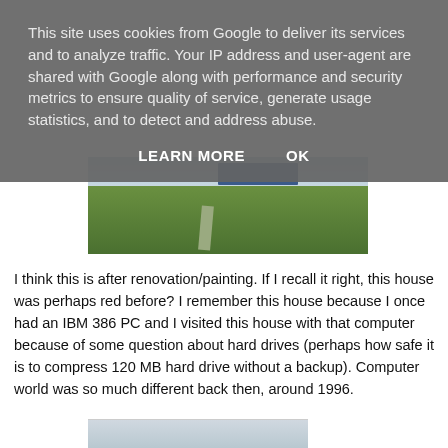This site uses cookies from Google to deliver its services and to analyze traffic. Your IP address and user-agent are shared with Google along with performance and security metrics to ensure quality of service, generate usage statistics, and to detect and address abuse.
LEARN MORE    OK
[Figure (photo): Outdoor photo showing a grassy area with a path, a blue truck visible in the background, and trees/buildings in the distance.]
I think this is after renovation/painting. If I recall it right, this house was perhaps red before? I remember this house because I once had an IBM 386 PC and I visited this house with that computer because of some question about hard drives (perhaps how safe it is to compress 120 MB hard drive without a backup). Computer world was so much different back then, around 1996.
[Figure (photo): Partial bottom photo, mostly cropped out of view.]